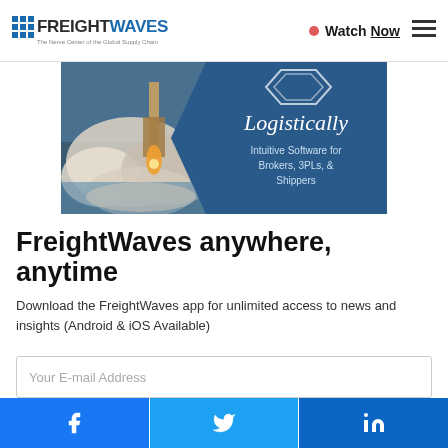FREIGHTWAVES — The Nerve Center of the Global Supply Chain | Watch Now
[Figure (photo): Advertisement banner showing a rocket launch with smoke clouds on the left side and a blue diamond-shaped overlay on the right with text 'Logistically — Intuitive Software for Brokers, 3PLs, & Shippers']
FreightWaves anywhere, anytime
Download the FreightWaves app for unlimited access to news and insights (Android & iOS Available)
Your E-mail Address
Get the App